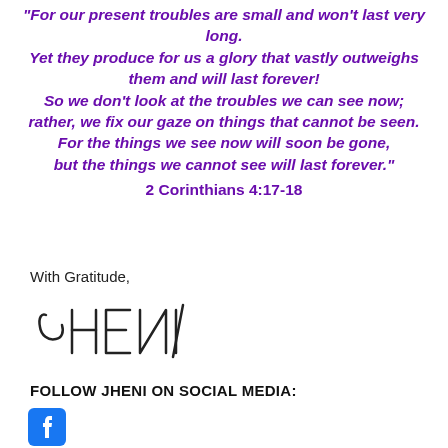“For our present troubles are small and won’t last very long. Yet they produce for us a glory that vastly outweighs them and will last forever! So we don’t look at the troubles we can see now; rather, we fix our gaze on things that cannot be seen. For the things we see now will soon be gone, but the things we cannot see will last forever.” 2 Corinthians 4:17-18
With Gratitude,
[Figure (illustration): Handwritten signature reading JHENI in cursive/script style]
FOLLOW JHENI ON SOCIAL MEDIA:
[Figure (logo): Facebook logo icon (blue square with white f)]